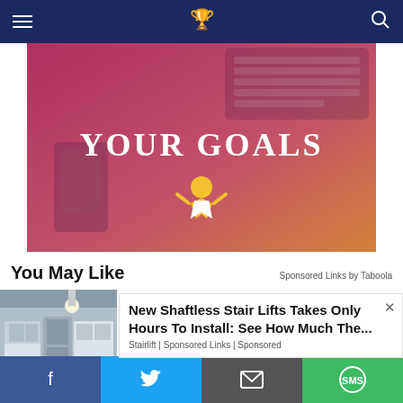Navigation bar with hamburger menu, site logo, and search icon
[Figure (illustration): Promotional graphic with pink-to-orange gradient background, keyboard and phone visible, large white text 'YOUR GOALS', and a yellow/white figure icon at bottom center]
You May Like
Sponsored Links by Taboola
[Figure (photo): Kitchen interior photo showing modern appliances and cabinets]
New Shaftless Stair Lifts Takes Only Hours To Install: See How Much The...
Stairlift | Sponsored Links | Sponsored
Social share buttons: Facebook, Twitter, Email, SMS